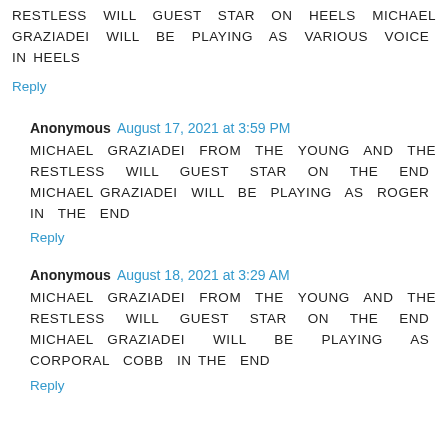RESTLESS WILL GUEST STAR ON HEELS MICHAEL GRAZIADEI WILL BE PLAYING AS VARIOUS VOICE IN HEELS
Reply
Anonymous  August 17, 2021 at 3:59 PM
MICHAEL GRAZIADEI FROM THE YOUNG AND THE RESTLESS WILL GUEST STAR ON THE END MICHAEL GRAZIADEI WILL BE PLAYING AS ROGER IN THE END
Reply
Anonymous  August 18, 2021 at 3:29 AM
MICHAEL GRAZIADEI FROM THE YOUNG AND THE RESTLESS WILL GUEST STAR ON THE END MICHAEL GRAZIADEI WILL BE PLAYING AS CORPORAL COBB IN THE END
Reply